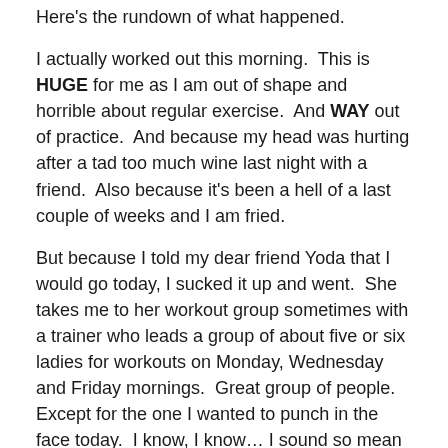Here's the rundown of what happened.
I actually worked out this morning.  This is HUGE for me as I am out of shape and horrible about regular exercise.  And WAY out of practice.  And because my head was hurting after a tad too much wine last night with a friend.  Also because it's been a hell of a last couple of weeks and I am fried.
But because I told my dear friend Yoda that I would go today, I sucked it up and went.  She takes me to her workout group sometimes with a trainer who leads a group of about five or six ladies for workouts on Monday, Wednesday and Friday mornings.  Great group of people.  Except for the one I wanted to punch in the face today.  I know, I know… I sound so mean and severe.  Which is why you need more background.